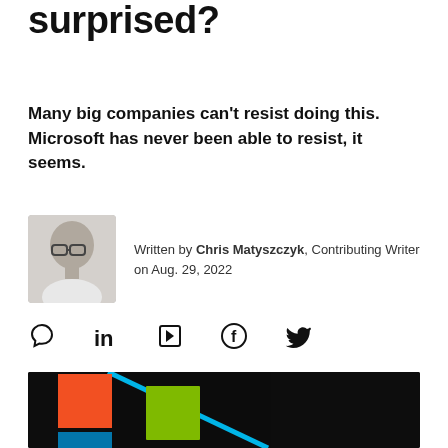and why are you surprised?
Many big companies can't resist doing this. Microsoft has never been able to resist, it seems.
Written by Chris Matyszczyk, Contributing Writer on Aug. 29, 2022
[Figure (photo): Black and white headshot photo of author Chris Matyszczyk, a bald man with glasses wearing a white shirt]
[Figure (photo): Microsoft logo (four colored squares: orange, green, blue, and a diagonal cyan/blue stripe) on a dark background]
[Figure (infographic): Social sharing icons: comment bubble, LinkedIn, Flipboard, Facebook, Twitter]